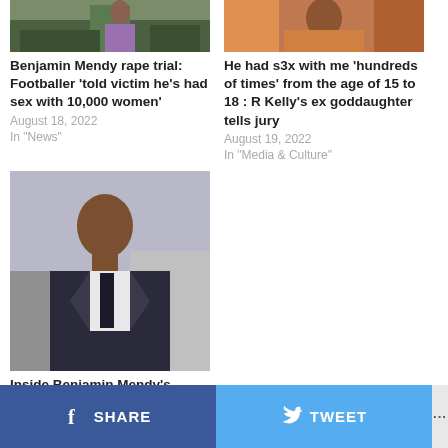[Figure (photo): Sports/football photo top left]
Benjamin Mendy rape trial: Footballer 'told victim he's had sex with 10,000 women'
August 18, 2022
In "News"
[Figure (photo): Person in orange clothing top right]
He had s3x with me 'hundreds of times' from the age of 15 to 18 : R Kelly's ex goddaughter tells jury
August 19, 2022
In "Media & Culture"
[Figure (photo): Benjamin Mendy in suit and tie]
Inside Benjamin Mendy's 'isolated' mansion where it is claimed he locked and raped women (Photos)
August 16, 2022
In "Photo News"
SHARE   TWEET